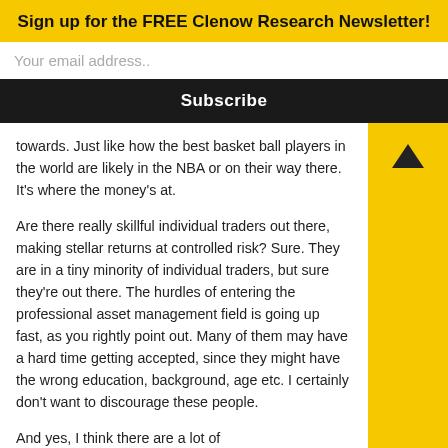Sign up for the FREE Clenow Research Newsletter!
Your email address..
Subscribe
towards. Just like how the best basket ball players in the world are likely in the NBA or on their way there. It's where the money's at.
Are there really skillful individual traders out there, making stellar returns at controlled risk? Sure. They are in a tiny minority of individual traders, but sure they're out there. The hurdles of entering the professional asset management field is going up fast, as you rightly point out. Many of them may have a hard time getting accepted, since they might have the wrong education, background, age etc. I certainly don't want to discourage these people.
And yes, I think there are a lot of